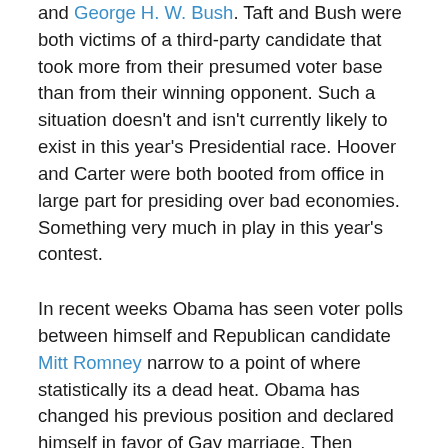and George H. W. Bush. Taft and Bush were both victims of a third-party candidate that took more from their presumed voter base than from their winning opponent. Such a situation doesn't and isn't currently likely to exist in this year's Presidential race. Hoover and Carter were both booted from office in large part for presiding over bad economies. Something very much in play in this year's contest.
In recent weeks Obama has seen voter polls between himself and Republican candidate Mitt Romney narrow to a point of where statistically its a dead heat. Obama has changed his previous position and declared himself in favor of Gay marriage. Then declared by Executive Order that illegal immigrants who were brought into this country by their illegal immigrant parents, could stay in this country and not face deportation from HIS U.S. Citizenship and